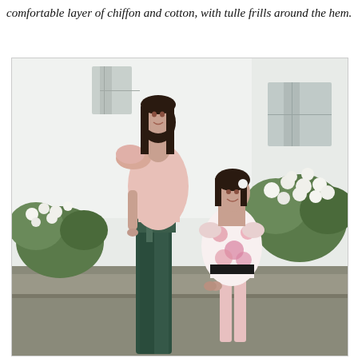comfortable layer of chiffon and cotton, with tulle frills around the hem.
[Figure (photo): A tall young woman wearing a pink one-shoulder top with a large bow/ruffle detail and dark green wide-leg satin trousers, holding hands with a young girl wearing a white floral dress with pink roses and ruffled sleeves. They are standing outdoors in front of a white building with white flowering bushes/roses in the background.]